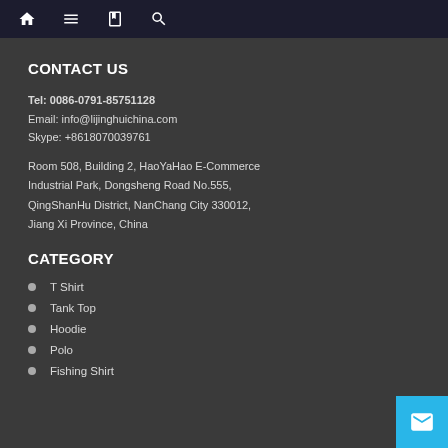Navigation bar with home, menu, book, and search icons
CONTACT US
Tel: 0086-0791-85751128
Email: info@lijinghuichina.com
Skype: +8618070039761
Room 508, Building 2, HaoYaHao E-Commerce Industrial Park, Dongsheng Road No.555, QingShanHu District, NanChang City 330012, Jiang Xi Province, China
CATEGORY
T Shirt
Tank Top
Hoodie
Polo
Fishing Shirt